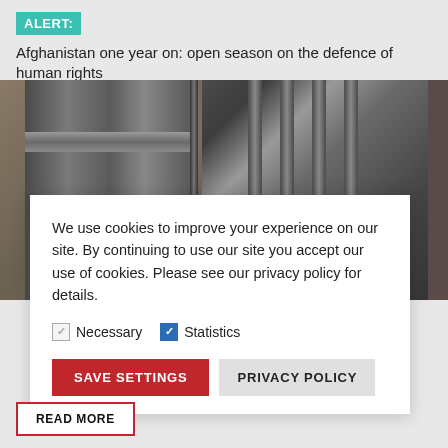ALERT: Afghanistan one year on: open season on the defence of human rights
[Figure (photo): Close-up photograph of metal prison bars and a heavy metal door frame against a stone wall background]
We use cookies to improve your experience on our site. By continuing to use our site you accept our use of cookies. Please see our privacy policy for details.
Necessary   Statistics
SAVE SETTINGS   PRIVACY POLICY
READ MORE